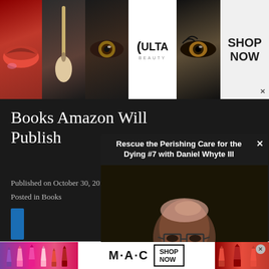[Figure (photo): Top banner advertisement for ULTA beauty with makeup images (lips, brush, eye), ULTA logo, and SHOP NOW call to action]
Books Amazon Will Publish
Published on October 30, 2014
Posted in Books
[Figure (screenshot): Video overlay popup titled 'Rescue the Perishing Care for the Dying #7 with Daniel Whyte III' showing a man with glasses looking down, with a close X button]
[Figure (photo): Bottom banner advertisement for MAC cosmetics with lipstick images on left and right, MAC logo center, and SHOP NOW button]